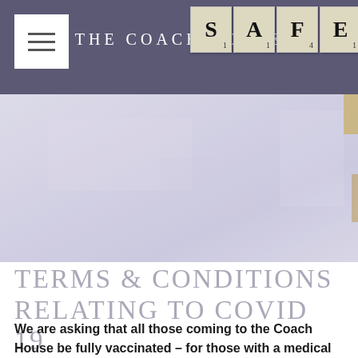THE COACH HOUSE
[Figure (photo): Scrabble tiles spelling SAFE on a dark background, overlaid on purple/slate header. Below is a light lavender/grey textured background photo.]
TERMS & CONDITIONS RELATING TO COVID 19
We are asking that all those coming to the Coach House be fully vaccinated – for those with a medical